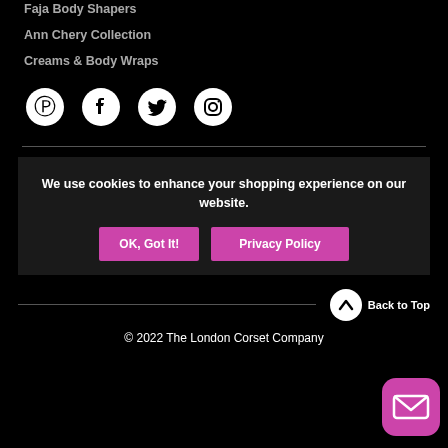Faja Body Shapers
Ann Chery Collection
Creams & Body Wraps
[Figure (illustration): Social media icons: Pinterest, Facebook, Twitter, Instagram]
We use cookies to enhance your shopping experience on our website.
OK, Got It!   Privacy Policy
© 2022 The London Corset Company